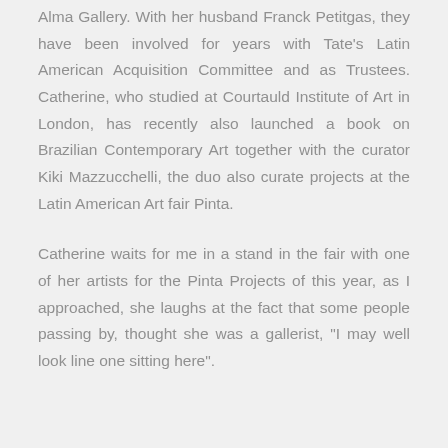Alma Gallery. With her husband Franck Petitgas, they have been involved for years with Tate's Latin American Acquisition Committee and as Trustees. Catherine, who studied at Courtauld Institute of Art in London, has recently also launched a book on Brazilian Contemporary Art together with the curator Kiki Mazzucchelli, the duo also curate projects at the Latin American Art fair Pinta.
Catherine waits for me in a stand in the fair with one of her artists for the Pinta Projects of this year, as I approached, she laughs at the fact that some people passing by, thought she was a gallerist, "I may well look line one sitting here".